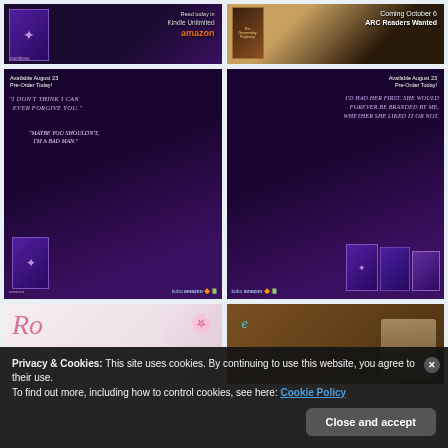[Figure (illustration): Book ad for 'Numinous' by Victoria Woods - Read today in Kindle Unlimited on Amazon, dark purple background with book cover]
[Figure (illustration): Book ad for 'The Groomsday Prophecy' - Coming October 6, ARC Readers Wanted, brown/warm toned background]
[Figure (illustration): Book ad for 'Numinous' - Available August 23 Pre-Order Today! Quote: 'I don't think I can ever forgive you.' 'Maybe you shouldn't. I'm a bad man.' kobo amazon logos]
[Figure (illustration): Book ad for 'Numinous' - Available August 23 Pre-Order Today! Quote: 'I'd had her first. She would forever be branded by me, whether she liked it or not.' kobo amazon logos with multiple book covers]
[Figure (illustration): Pink floral background ad, partially visible cursive text]
[Figure (photo): Tablet/e-reader device on wooden surface, cyan accent color]
Privacy & Cookies: This site uses cookies. By continuing to use this website, you agree to their use.
To find out more, including how to control cookies, see here: Cookie Policy
Close and accept